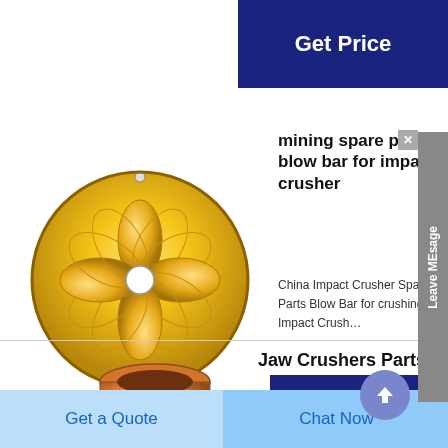[Figure (other): Get Price button, dark navy blue background]
[Figure (photo): Golden circular mechanical crusher part with flower/petal pattern and central hole]
mining spare parts blow bar for impact crusher
China Impact Crusher Spare Parts Blow Bar for crushing . Impact Crush…
[Figure (other): Get Price button, dark navy blue background]
[Figure (photo): Copper/bronze cylindrical ring part for jaw crusher]
Jaw Crushers Parts
Jaw crushers . Jaw
[Figure (other): Get a Quote and Chat Now buttons at bottom]